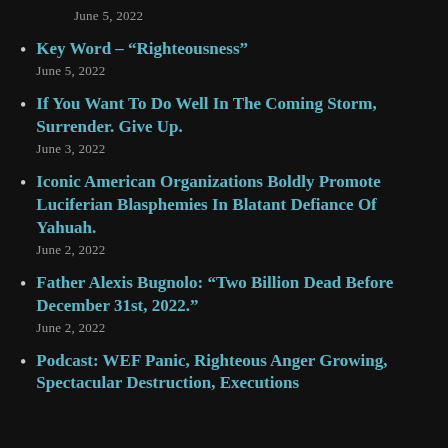June 5, 2022
Key Word – “Righteousness”
June 5, 2022
If You Want To Do Well In The Coming Storm, Surrender. Give Up.
June 3, 2022
Iconic American Organizations Boldly Promote Luciferian Blasphemies In Blatant Defiance Of Yahuah.
June 2, 2022
Father Alexis Bugnolo: “Two Billion Dead Before December 31st, 2022.”
June 2, 2022
Podcast: WEF Panic, Righteous Anger Growing, Spectacular Destruction, Executions